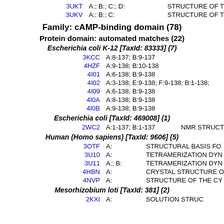3UKT    A:; B:; C:; D:    STRUCTURE OF T
3UKV    A:; B:; C:      STRUCTURE OF T
Family: cAMP-binding domain (78)
Protein domain: automated matches (22)
Escherichia coli K-12 [TaxId: 83333] (7)
3KCC    A:8-137; B:9-137
4HZF    A:9-138; B:10-138
4I01    A:6-138; B:9-138
4I02    A:3-138; E:9-138; F:9-138; B:1-138;
4I09    A:6-138; B:9-138
4I0A    A:8-138; B:9-138
4I0B    A:9-138; B:9-138
Escherichia coli [TaxId: 469008] (1)
2WC2    A:1-137; B:1-137    NMR STRUCT
Human (Homo sapiens) [TaxId: 9606] (5)
3OTF    A:    STRUCTURAL BASIS FO
3U10    A:    TETRAMERIZATION DYN
3U11    A:; B:    TETRAMERIZATION DYN
4HBN    A:    CRYSTAL STRUCTURE O
4NVP    A:    STRUCTURE OF THE CY
Mesorhizobium loti [TaxId: 381] (2)
2KXI    A:    SOLUTION STRUC